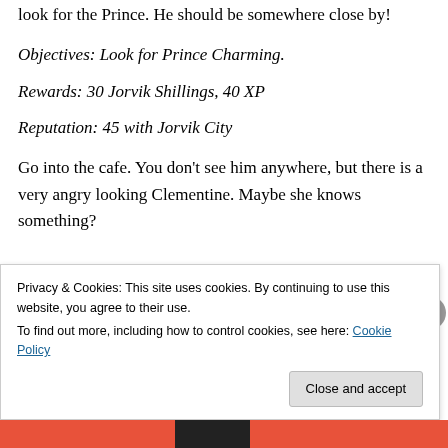look for the Prince. He should be somewhere close by!
Objectives: Look for Prince Charming.
Rewards: 30 Jorvik Shillings, 40 XP
Reputation: 45 with Jorvik City
Go into the cafe. You don't see him anywhere, but there is a very angry looking Clementine. Maybe she knows something?
[Figure (photo): Partial image of a circular blue and brown object, likely a decorative plate or character image]
Privacy & Cookies: This site uses cookies. By continuing to use this website, you agree to their use.
To find out more, including how to control cookies, see here: Cookie Policy
Close and accept